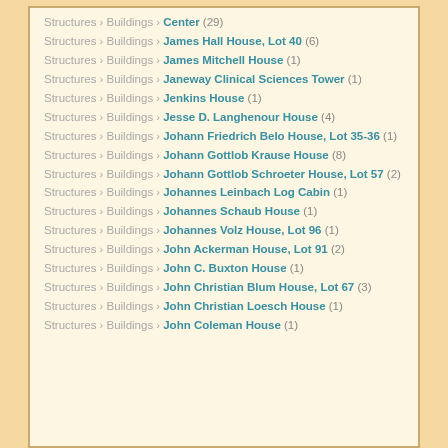Structures › Buildings › Center (29)
Structures › Buildings › James Hall House, Lot 40 (6)
Structures › Buildings › James Mitchell House (1)
Structures › Buildings › Janeway Clinical Sciences Tower (1)
Structures › Buildings › Jenkins House (1)
Structures › Buildings › Jesse D. Langhenour House (4)
Structures › Buildings › Johann Friedrich Belo House, Lot 35-36 (1)
Structures › Buildings › Johann Gottlob Krause House (8)
Structures › Buildings › Johann Gottlob Schroeter House, Lot 57 (2)
Structures › Buildings › Johannes Leinbach Log Cabin (1)
Structures › Buildings › Johannes Schaub House (1)
Structures › Buildings › Johannes Volz House, Lot 96 (1)
Structures › Buildings › John Ackerman House, Lot 91 (2)
Structures › Buildings › John C. Buxton House (1)
Structures › Buildings › John Christian Blum House, Lot 67 (3)
Structures › Buildings › John Christian Loesch House (1)
Structures › Buildings › John Coleman House (1)